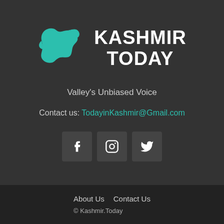[Figure (logo): Kashmir Today logo: teal/green map of Kashmir region on the left, with bold white text 'KASHMIR TODAY' on the right]
Valley's Unbiased Voice
Contact us: TodayinKashmir@Gmail.com
[Figure (infographic): Three social media icon buttons side by side: Facebook (f), Instagram (camera), Twitter (bird)]
About Us   Contact Us
© Kashmir.Today